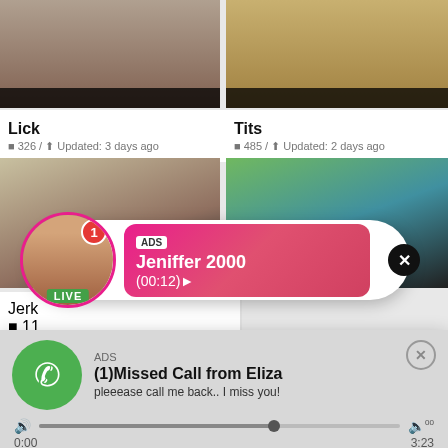[Figure (screenshot): Top-left video thumbnail with black label bar]
[Figure (screenshot): Top-right video thumbnail with black label bar]
Lick
■ 326 / ↑ Updated: 3 days ago
Tits
■ 485 / ↑ Updated: 2 days ago
[Figure (screenshot): Middle-left video thumbnail]
[Figure (screenshot): Middle-right video thumbnail]
[Figure (infographic): Video call popup ad: profile photo of woman with LIVE badge and notification badge, pink card showing ADS label, name Jeniffer 2000, time (00:12), close button]
Jerk
■ 11
[Figure (infographic): Audio popup ad: green phone icon, ADS label, title (1)Missed Call from Eliza, subtitle pleeease call me back.. I miss you!, audio seeker bar, times 0:00 and 3:23, playback controls]
[Figure (screenshot): Bottom thumbnail row]